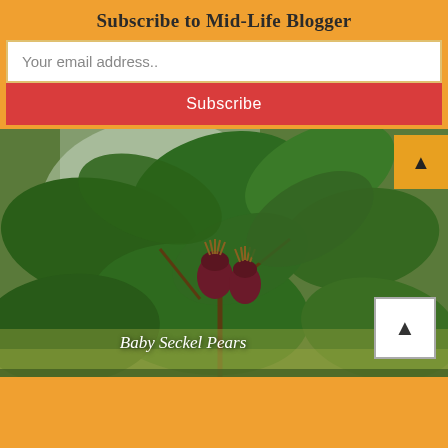Subscribe to Mid-Life Blogger
Your email address..
Subscribe
[Figure (photo): Close-up photograph of baby Seckel pears on a tree, surrounded by large green leaves. The small dark red pear fruits are visible with dried flower remnants on top.]
Baby Seckel Pears